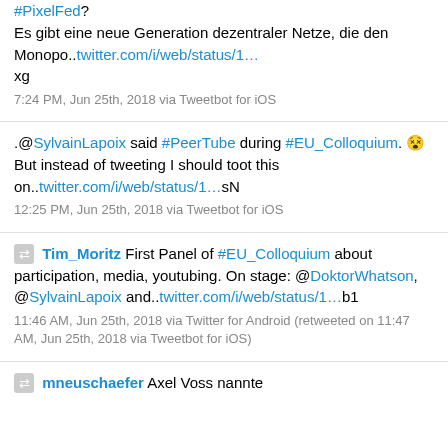#PixelFed? Es gibt eine neue Generation dezentraler Netze, die den Monopo..twitter.com/i/web/status/1… xg
7:24 PM, Jun 25th, 2018 via Tweetbot for iOS
.@SylvainLapoix said #PeerTube during #EU_Colloquium. 😵 But instead of tweeting I should toot this on..twitter.com/i/web/status/1…sN
12:25 PM, Jun 25th, 2018 via Tweetbot for iOS
🔁 Tim_Moritz First Panel of #EU_Colloquium about participation, media, youtubing. On stage: @DoktorWhatson, @SylvainLapoix and..twitter.com/i/web/status/1…b1
11:46 AM, Jun 25th, 2018 via Twitter for Android (retweeted on 11:47 AM, Jun 25th, 2018 via Tweetbot for iOS)
🔁 mneuschaefer Axel Voss nannte